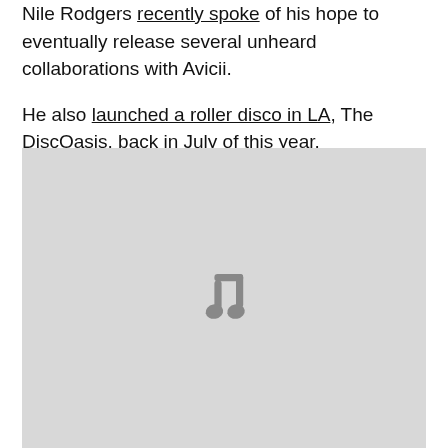Nile Rodgers recently spoke of his hope to eventually release several unheard collaborations with Avicii.
He also launched a roller disco in LA, The DiscOasis, back in July of this year.
[Figure (illustration): A light grey placeholder image box with a music note icon centered within it.]